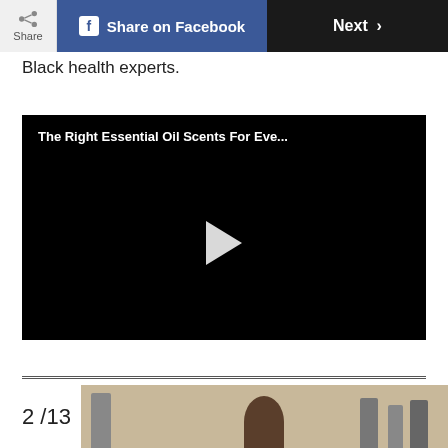Share | Share on Facebook | Next >
Black health experts.
[Figure (screenshot): Embedded video player with black background, title 'The Right Essential Oil Scents For Eve...' and a white play button triangle in the center]
2 /13
[Figure (photo): Thumbnail image showing a person with dark hair and several tall objects/bottles on a light brown background]